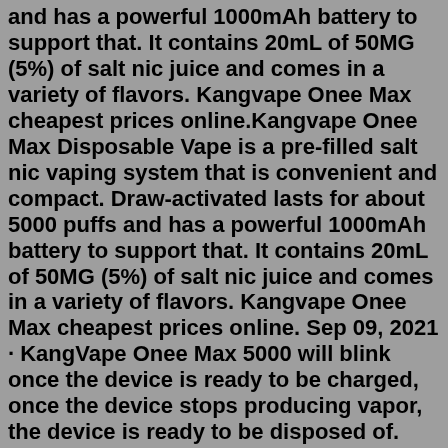and has a powerful 1000mAh battery to support that. It contains 20mL of 50MG (5%) of salt nic juice and comes in a variety of flavors. Kangvape Onee Max cheapest prices online.Kangvape Onee Max Disposable Vape is a pre-filled salt nic vaping system that is convenient and compact. Draw-activated lasts for about 5000 puffs and has a powerful 1000mAh battery to support that. It contains 20mL of 50MG (5%) of salt nic juice and comes in a variety of flavors. Kangvape Onee Max cheapest prices online. Sep 09, 2021 · KangVape Onee Max 5000 will blink once the device is ready to be charged, once the device stops producing vapor, the device is ready to be disposed of. AUTHENTICITY. On the back of all the KangVape packaging to verify authenticity, it has a scratch me QR code. Introducing NEW KangVape Onee Max 5000 Puffs - Disposable Vape is a pre-filled salt nic vaping system that is convenient and compact. Draw-activated, lasts for about 5000 puffs and has a powerful 1000mAh battery to support that. It contains 20mL of 50MG (5%) of salt nic juice and